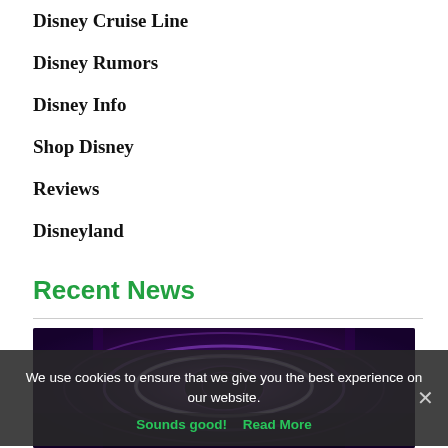Disney Cruise Line
Disney Rumors
Disney Info
Shop Disney
Reviews
Disneyland
Recent News
[Figure (photo): A dark, atmospheric photo of a futuristic ride interior with glowing circular light rings in purple and blue tones.]
We use cookies to ensure that we give you the best experience on our website.
Sounds good!  Read More